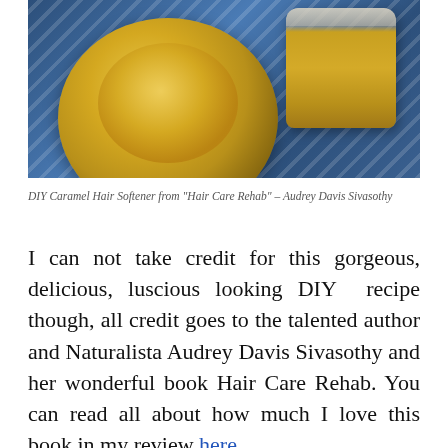[Figure (photo): Photo of a DIY caramel hair softener: a large silver tin/bowl with golden-yellow caramel-colored product and a small glass jar with the same product, both sitting on a blue and white patterned fabric.]
DIY Caramel Hair Softener from "Hair Care Rehab" – Audrey Davis Sivasothy
I can not take credit for this gorgeous, delicious, luscious looking DIY  recipe though, all credit goes to the talented author and Naturalista Audrey Davis Sivasothy and her wonderful book Hair Care Rehab. You can read all about how much I love this book in my review here.